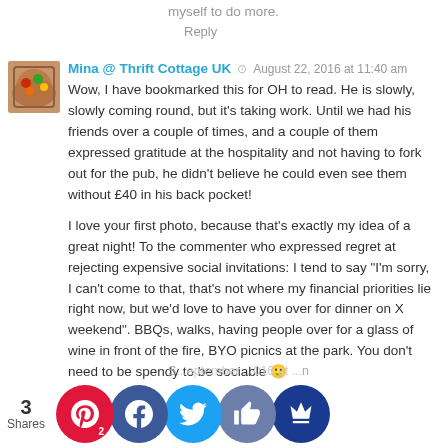myself to do more.
Reply
Mina @ Thrift Cottage UK  August 22, 2016 at 11:40 am
Wow, I have bookmarked this for OH to read. He is slowly, slowly coming round, but it's taking work. Until we had his friends over a couple of times, and a couple of them expressed gratitude at the hospitality and not having to fork out for the pub, he didn't believe he could even see them without £40 in his back pocket!

I love your first photo, because that's exactly my idea of a great night! To the commenter who expressed regret at rejecting expensive social invitations: I tend to say "I'm sorry, I can't come to that, that's not where my financial priorities lie right now, but we'd love to have you over for dinner on X weekend". BBQs, walks, having people over for a glass of wine in front of the fire, BYO picnics at the park. You don't need to be spendy to be sociable 🙂
Reply
S... September ...016 at ...n
3 Shares